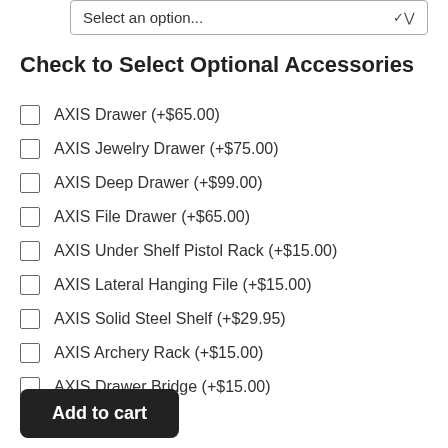Select an option...
Check to Select Optional Accessories
AXIS Drawer (+$65.00)
AXIS Jewelry Drawer (+$75.00)
AXIS Deep Drawer (+$99.00)
AXIS File Drawer (+$65.00)
AXIS Under Shelf Pistol Rack (+$15.00)
AXIS Lateral Hanging File (+$15.00)
AXIS Solid Steel Shelf (+$29.95)
AXIS Archery Rack (+$15.00)
AXIS Drawer Bridge (+$15.00)
Add to cart